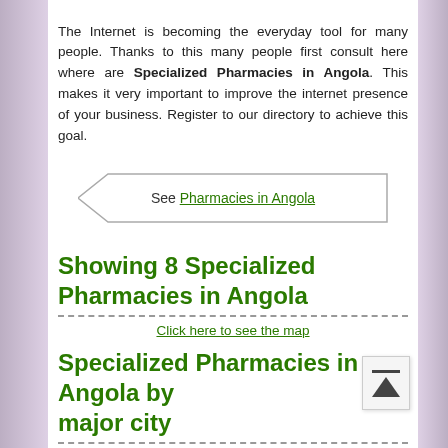The Internet is becoming the everyday tool for many people. Thanks to this many people first consult here where are Specialized Pharmacies in Angola. This makes it very important to improve the internet presence of your business. Register to our directory to achieve this goal.
See Pharmacies in Angola
Showing 8 Specialized Pharmacies in Angola
Click here to see the map
Specialized Pharmacies in Angola by major city
Luanda
Luanda, with an estimated population of 2776168, is already large enough to...